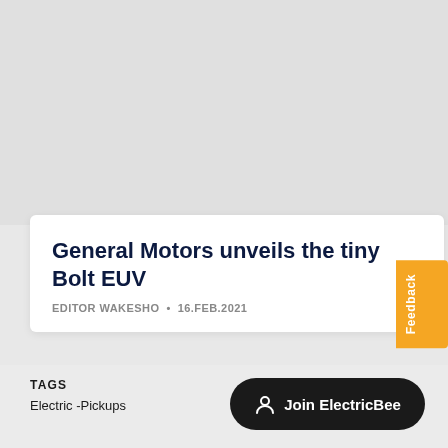[Figure (other): Gray placeholder image area at top of page]
General Motors unveils the tiny Bolt EUV
EDITOR WAKESHO · 16.FEB.2021
Join ElectricBee
TAGS
Electric -Pickups